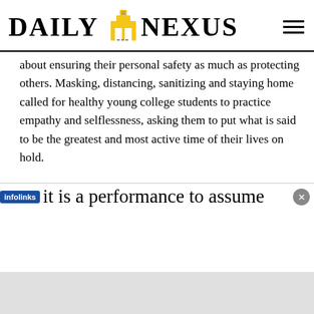DAILY NEXUS
about ensuring their personal safety as much as protecting others. Masking, distancing, sanitizing and staying home called for healthy young college students to practice empathy and selflessness, asking them to put what is said to be the greatest and most active time of their lives on hold.
But privilege is operating, even when no one wears a mask. And it is a performance to assume